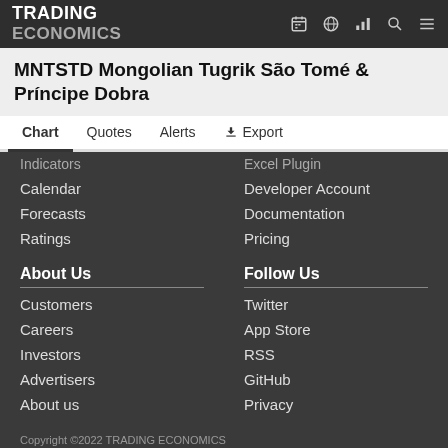TRADING ECONOMICS
MNTSTD Mongolian Tugrik São Tomé & Príncipe Dobra
Chart | Quotes | Alerts | Export
Calendar
Forecasts
Ratings
Developer Account
Documentation
Pricing
About Us
Customers
Careers
Investors
Advertisers
About us
Follow Us
Twitter
App Store
RSS
GitHub
Privacy
Copyright ©2022 TRADING ECONOMICS
All Rights Reserved